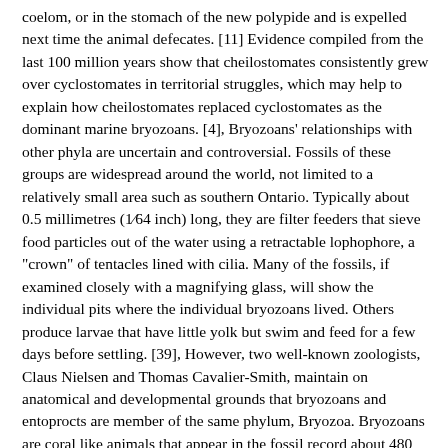coelom, or in the stomach of the new polypide and is expelled next time the animal defecates. [11] Evidence compiled from the last 100 million years show that cheilostomates consistently grew over cyclostomates in territorial struggles, which may help to explain how cheilostomates replaced cyclostomates as the dominant marine bryozoans. [4], Bryozoans' relationships with other phyla are uncertain and controversial. Fossils of these groups are widespread around the world, not limited to a relatively small area such as southern Ontario. Typically about 0.5 millimetres (1⁄64 inch) long, they are filter feeders that sieve food particles out of the water using a retractable lophophore, a "crown" of tentacles lined with cilia. Many of the fossils, if examined closely with a magnifying glass, will show the individual pits where the individual bryozoans lived. Others produce larvae that have little yolk but swim and feed for a few days before settling. [39], However, two well-known zoologists, Claus Nielsen and Thomas Cavalier-Smith, maintain on anatomical and developmental grounds that bryozoans and entoprocts are member of the same phylum, Bryozoa. Bryozoans are coral like animals that appear in the fossil record about 480 million years ago. fossil bryozoans, including representatives of both Some species consistently prevail against certain others, but most turf wars are indecisive and the combatants soon turn to growing in uncontested areas. Reference. Woollacott, R.M. [67] While the currents that bryozoans generate to draw food towards the mouth are well understood, the exact